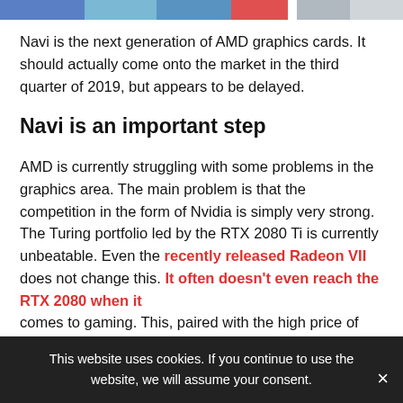[Figure (other): Colored navigation/header bar strip with blue, light blue, dark blue, red, gray, and light gray segments]
Navi is the next generation of AMD graphics cards. It should actually come onto the market in the third quarter of 2019, but appears to be delayed.
Navi is an important step
AMD is currently struggling with some problems in the graphics area. The main problem is that the competition in the form of Nvidia is simply very strong. The Turing portfolio led by the RTX 2080 Ti is currently unbeatable. Even the recently released Radeon VII does not change this. It often doesn't even reach the RTX 2080 when it comes to gaming. This, paired with the high price of $699,
This website uses cookies. If you continue to use the website, we will assume your consent.